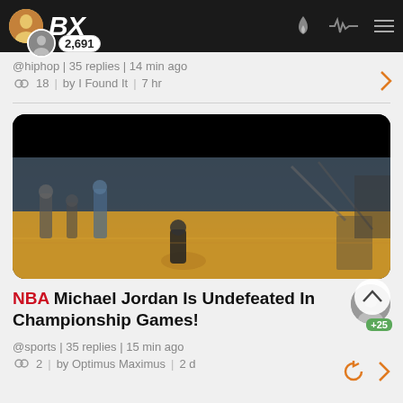BX — navigation bar with logo, avatar with 2,691 badge, fire icon, pulse icon, menu
@hiphop | 35 replies | 14 min ago
18 | by I Found It | 7 hr
[Figure (screenshot): Basketball game video thumbnail showing players on a court with black bar at top]
NBA Michael Jordan Is Undefeated In Championship Games!
@sports | 35 replies | 15 min ago
2 | by Optimus Maximus | 2 d